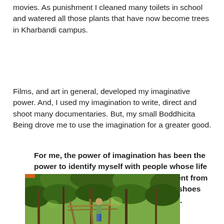movies. As punishment I cleaned many toilets in school and watered all those plants that have now become trees in Kharbandi campus.
Films, and art in general, developed my imaginative power. And, I used my imagination to write, direct and shoot many documentaries. But, my small Boddhicita Being drove me to use the imagination for a greater good.
For me, the power of imagination has been the power to identify myself with people whose life and experiences were drastically different from mine. That power to put myself in their shoes humbled me and made me more human.
[Figure (photo): A person standing on a makeshift bamboo bridge surrounded by dense green forest vegetation.]